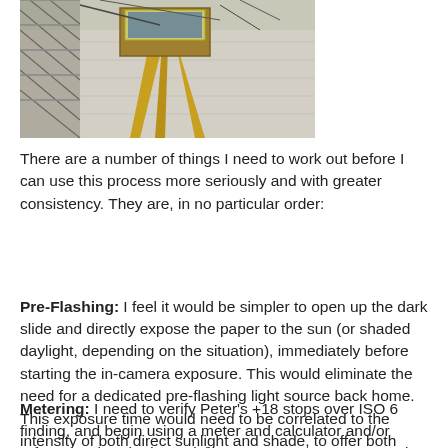[Figure (photo): Outdoor photograph of a large format camera on a wooden stand or tripod, with a chain-link fence and white painted wall visible in the background. The camera has yellow/wooden legs.]
There are a number of things I need to work out before I can use this process more seriously and with greater consistency. They are, in no particular order:
Pre-Flashing: I feel it would be simpler to open up the dark slide and directly expose the paper to the sun (or shaded daylight, depending on the situation), immediately before starting the in-camera exposure. This would eliminate the need for a dedicated pre-flashing light source back home. This exposure time would need to be correlated to the intensity of both direct sunlight and shade, to offer both options.
Metering: I need to verify Peter's +18 stops over ISO 6 finding, and begin using a meter and calculator and/or reference chart in determining exposures more accurately. One of the main motivators is time; the process takes so